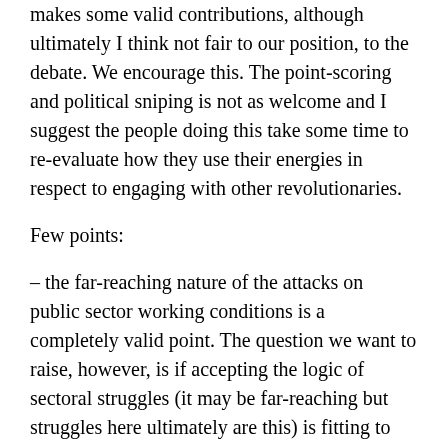makes some valid contributions, although ultimately I think not fair to our position, to the debate. We encourage this. The point-scoring and political sniping is not as welcome and I suggest the people doing this take some time to re-evaluate how they use their energies in respect to engaging with other revolutionaries.
Few points:
– the far-reaching nature of the attacks on public sector working conditions is a completely valid point. The question we want to raise, however, is if accepting the logic of sectoral struggles (it may be far-reaching but struggles here ultimately are this) is fitting to the development of an